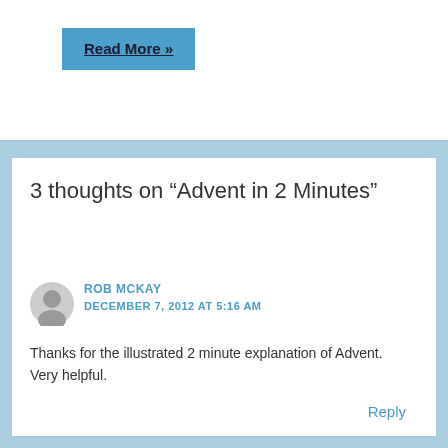Read More »
3 thoughts on “Advent in 2 Minutes”
ROB MCKAY
DECEMBER 7, 2012 AT 5:16 AM
Thanks for the illustrated 2 minute explanation of Advent. Very helpful.
Reply